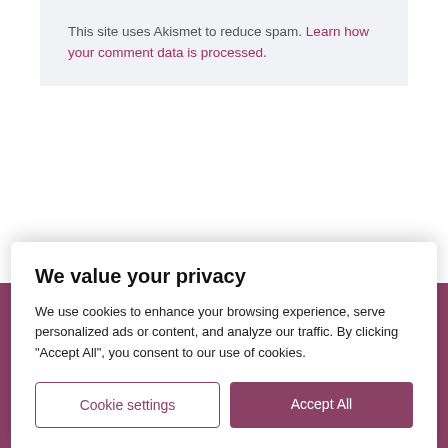This site uses Akismet to reduce spam. Learn how your comment data is processed.
Marketing Tom Media
We value your privacy
We use cookies to enhance your browsing experience, serve personalized ads or content, and analyze our traffic. By clicking "Accept All", you consent to our use of cookies.
Cookie settings
Accept All